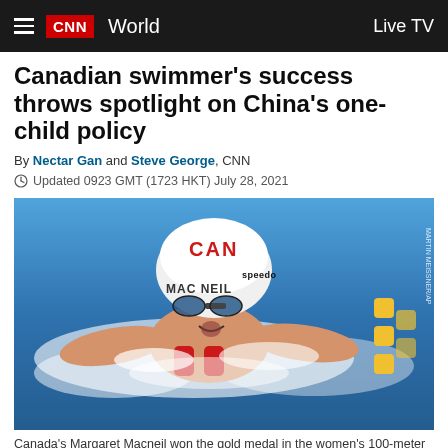CNN World | Live TV
Canadian swimmer's success throws spotlight on China's one-child policy
By Nectar Gan and Steve George, CNN
Updated 0923 GMT (1723 HKT) July 28, 2021
[Figure (photo): Canadian swimmer Margaret Macneil competing in the water wearing a white swim cap labeled CAN and MAC NEIL with Speedo logo, blue goggles, swimming butterfly stroke in a blue pool with yellow lane markers]
Canada's Margaret Macneil won the gold medal in the women's 100-meter